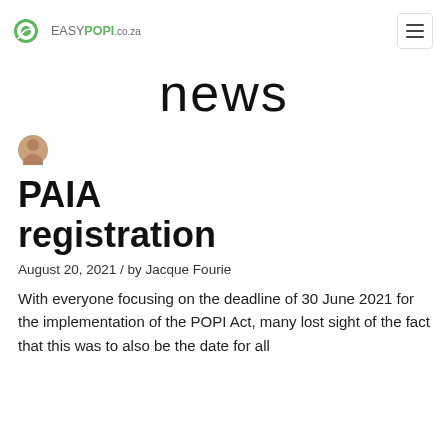EASYPOPI.CO.ZA
news
[Figure (photo): Small circular avatar photo of Jacque Fourie]
PAIA registration
August 20, 2021 / by Jacque Fourie
With everyone focusing on the deadline of 30 June 2021 for the implementation of the POPI Act, many lost sight of the fact that this was to also be the date for all